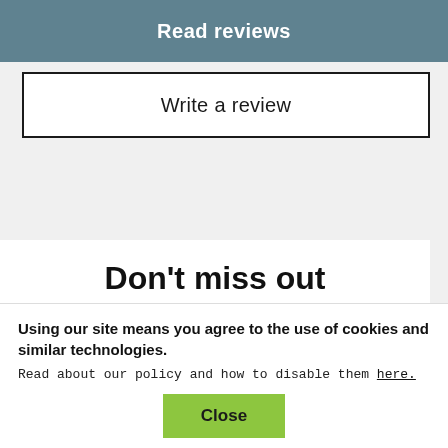Read reviews
Write a review
Don't miss out
Register to receive exclusive offers tailored to you, plus rewards and promotions before anyone else. Just select 'YES' during step 3 on the next page and never miss a
Using our site means you agree to the use of cookies and similar technologies. Read about our policy and how to disable them here.
Close